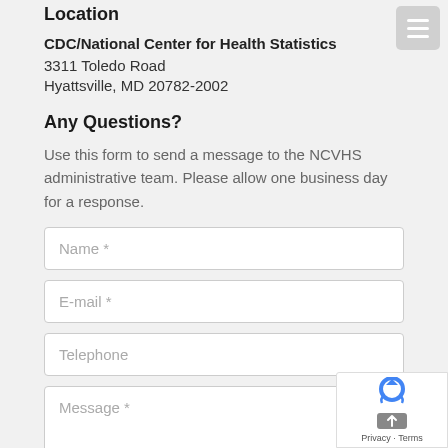Location
CDC/National Center for Health Statistics
3311 Toledo Road
Hyattsville, MD 20782-2002
Any Questions?
Use this form to send a message to the NCVHS administrative team. Please allow one business day for a response.
Name *
E-mail *
Telephone
Message *